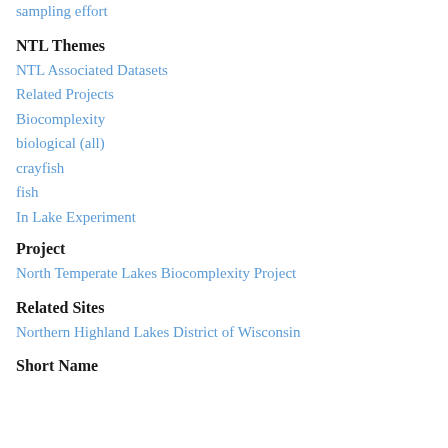sampling effort
NTL Themes
NTL Associated Datasets
Related Projects
Biocomplexity
biological (all)
crayfish
fish
In Lake Experiment
Project
North Temperate Lakes Biocomplexity Project
Related Sites
Northern Highland Lakes District of Wisconsin
Short Name